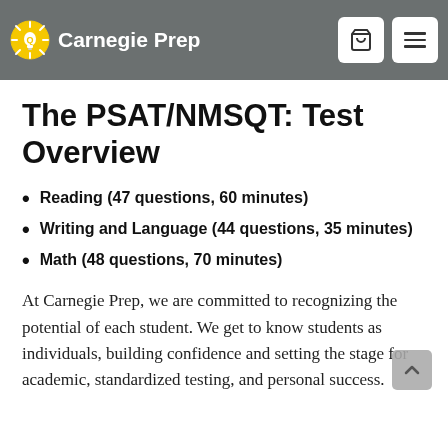Carnegie Prep
The PSAT/NMSQT: Test Overview
Reading (47 questions, 60 minutes)
Writing and Language (44 questions, 35 minutes)
Math (48 questions, 70 minutes)
At Carnegie Prep, we are committed to recognizing the potential of each student. We get to know students as individuals, building confidence and setting the stage for academic, standardized testing, and personal success.